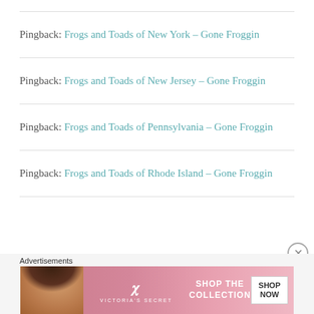Pingback: Frogs and Toads of New York – Gone Froggin
Pingback: Frogs and Toads of New Jersey – Gone Froggin
Pingback: Frogs and Toads of Pennsylvania – Gone Froggin
Pingback: Frogs and Toads of Rhode Island – Gone Froggin
[Figure (photo): Victoria's Secret advertisement banner with model, logo, 'SHOP THE COLLECTION' text and 'SHOP NOW' button]
Advertisements